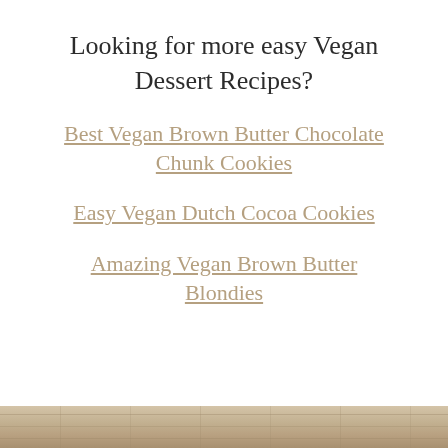Looking for more easy Vegan Dessert Recipes?
Best Vegan Brown Butter Chocolate Chunk Cookies
Easy Vegan Dutch Cocoa Cookies
Amazing Vegan Brown Butter Blondies
[Figure (photo): Partial view of a baked dessert item on a surface, bottom strip of the page]